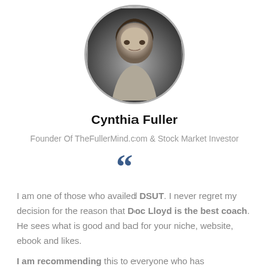[Figure (photo): Black and white circular portrait photo of Cynthia Fuller]
Cynthia Fuller
Founder Of TheFullerMind.com  & Stock Market Investor
[Figure (illustration): Large blue double open-quote marks icon]
I am one of those who availed DSUT. I never regret my decision for the reason that Doc Lloyd is the best coach. He sees what is good and bad for your niche, website, ebook and likes.
I am recommending this to everyone who has